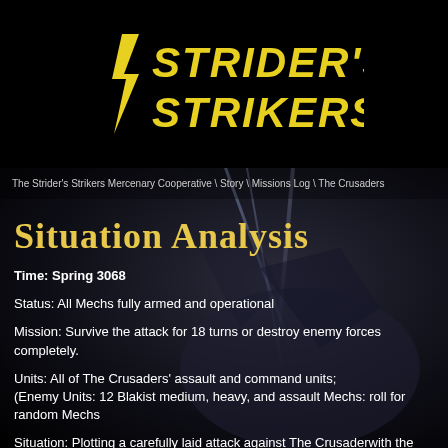[Figure (logo): Strider's Strikers logo — yellow stylized futuristic text on black background]
The Strider's Strikers Mercenary Cooperative \ Story \ Missions Log \ The Crusaders
Situation Analysis
Time: Spring 3068
Status: All Mechs fully armed and operational
Mission: Survive the attack for 18 turns or destroy enemy forces completely.
Units: All of The Crusaders' assault and command units;
(Enemy Units: 12 Blakist medium, heavy, and assault Mechs: roll for random Mechs
Situation: Plotting a carefully laid attack against The Crusaderwith the hopes of killin crash-landing a Leopard Class cargo Dropship. When the scout lance responds to the